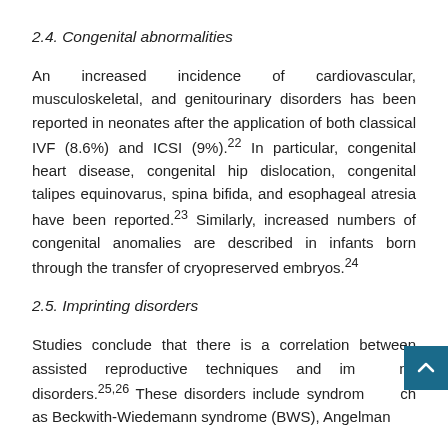2.4. Congenital abnormalities
An increased incidence of cardiovascular, musculoskeletal, and genitourinary disorders has been reported in neonates after the application of both classical IVF (8.6%) and ICSI (9%).22 In particular, congenital heart disease, congenital hip dislocation, congenital talipes equinovarus, spina bifida, and esophageal atresia have been reported.23 Similarly, increased numbers of congenital anomalies are described in infants born through the transfer of cryopreserved embryos.24
2.5. Imprinting disorders
Studies conclude that there is a correlation between assisted reproductive techniques and imprinting disorders.25,26 These disorders include syndromes such as Beckwith-Wiedemann syndrome (BWS), Angelman